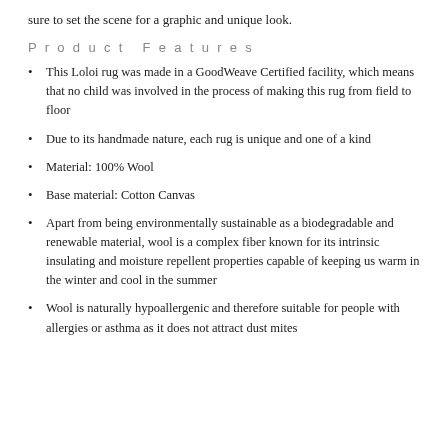sure to set the scene for a graphic and unique look.
Product Features
This Loloi rug was made in a GoodWeave Certified facility, which means that no child was involved in the process of making this rug from field to floor
Due to its handmade nature, each rug is unique and one of a kind
Material: 100% Wool
Base material: Cotton Canvas
Apart from being environmentally sustainable as a biodegradable and renewable material, wool is a complex fiber known for its intrinsic insulating and moisture repellent properties capable of keeping us warm in the winter and cool in the summer
Wool is naturally hypoallergenic and therefore suitable for people with allergies or asthma as it does not attract dust mites